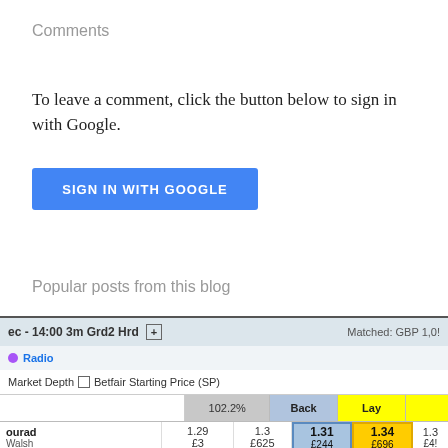Comments
To leave a comment, click the button below to sign in with Google.
SIGN IN WITH GOOGLE
Popular posts from this blog
[Figure (screenshot): Betfair betting exchange widget showing a horse racing market: 'ec - 14:00 3m Grd2 Hrd', Matched: GBP 1,0... with Radio link, Market Depth checkbox, Betfair Starting Price (SP) label. Table header shows 102.2%, Back, Lay columns. Data row shows 'ourad Walsh' with odds 1.29, 1.3, 1.31 (Back highlighted), 1.34 (Lay highlighted), 1.3... and monetary amounts £3, £625, £244, £696, £4...]